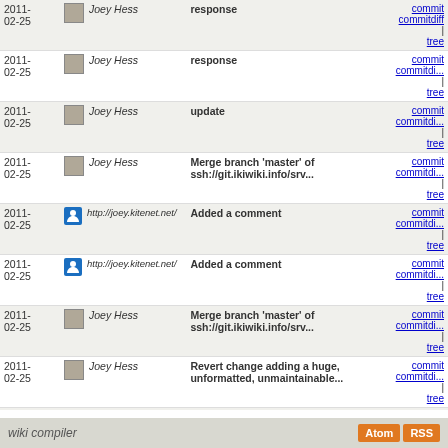| Date | Author | Message | Links |
| --- | --- | --- | --- |
| 2011-02-25 | Joey Hess | response | commit | commitdiff | tree |
| 2011-02-25 | Joey Hess | response | commit | commitdiff | tree |
| 2011-02-25 | Joey Hess | update | commit | commitdiff | tree |
| 2011-02-25 | Joey Hess | Merge branch 'master' of ssh://git.ikiwiki.info/srv... | commit | commitdiff | tree |
| 2011-02-25 | http://joey.kitenet.net/ | Added a comment | commit | commitdiff | tree |
| 2011-02-25 | http://joey.kitenet.net/ | Added a comment | commit | commitdiff | tree |
| 2011-02-25 | Joey Hess | Merge branch 'master' of ssh://git.ikiwiki.info/srv... | commit | commitdiff | tree |
| 2011-02-25 | Joey Hess | Revert change adding a huge, unformatted, unmaintainable... | commit | commitdiff | tree |
| 2011-02-25 | justint | (no commit message) | commit | commitdiff | tree |
| 2011-02-24 | http://smcv.pseudora... | doesn't look like an ikiwiki bug | commit | commitdiff | tree |
| 2011-02-24 | fmarier | (no commit message) | commit | commitdiff | tree |
next
wiki compiler  Atom RSS